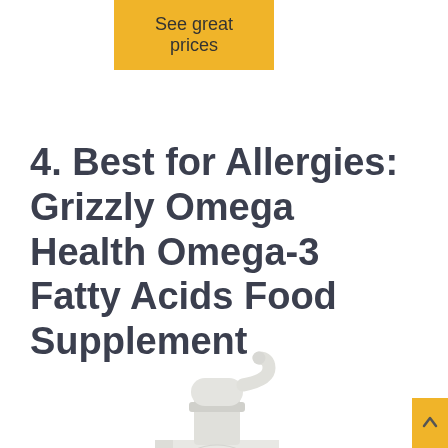[Figure (other): Yellow/gold button with text 'See great prices']
4. Best for Allergies: Grizzly Omega Health Omega-3 Fatty Acids Food Supplement
[Figure (photo): White pump dispenser bottle (supplement liquid container) photographed on white background, showing the pump head and top portion of the bottle]